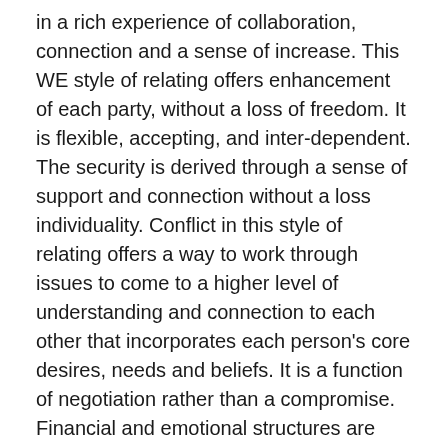in a rich experience of collaboration, connection and a sense of increase.  This WE style of relating offers enhancement of each party, without a loss of freedom. It is flexible, accepting, and inter-dependent.  The security is derived through a sense of support and connection without a loss individuality.  Conflict in this style of relating offers a way to work through issues to come to a higher level of understanding and connection to each other that incorporates each person's core desires, needs and beliefs.  It is a function of negotiation rather than a compromise.  Financial and emotional structures are interrelated and integrated so that both parties are flexibly participatory, flowing easily in a responsive, dynamic fashion.
Once you have found your style you can begin to shift your attention in the relationship.  Embrace your fears and